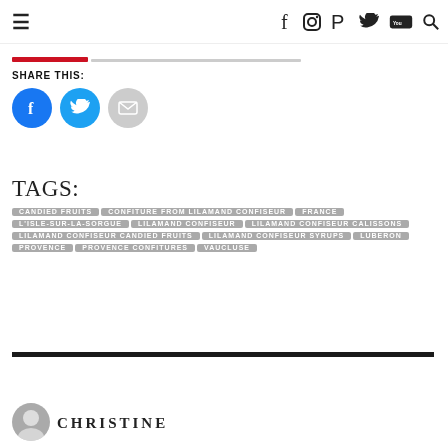≡  f  ◉  P  🐦  You  🔍
SHARE THIS:
[Figure (infographic): Social share buttons: Facebook (blue circle), Twitter (blue circle), Email (grey circle)]
TAGS:
CANDIED FRUITS
CONFITURE FROM LILAMAND CONFISEUR
FRANCE
L'ISLE-SUR-LA-SORGUE
LILAMAND CONFISEUR
LILAMAND CONFISEUR CALISSONS
LILAMAND CONFISEUR CANDIED FRUITS
LILAMAND CONFISEUR SYRUPS
LUBERON
PROVENCE
PROVENCE CONFITURES
VAUCLUSE
CHRISTINE